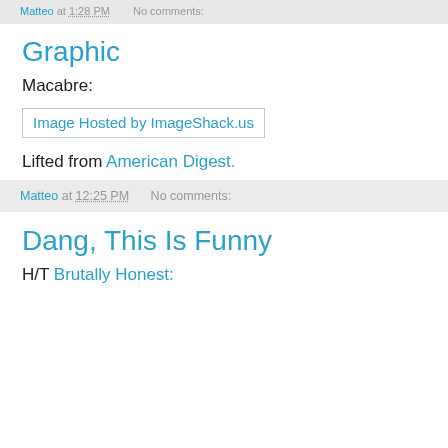Matteo at 1:28 PM    No comments:
Graphic
Macabre:
[Figure (other): Image Hosted by ImageShack.us - broken image placeholder with alt text]
Lifted from American Digest.
Matteo at 12:25 PM    No comments:
Dang, This Is Funny
H/T Brutally Honest: